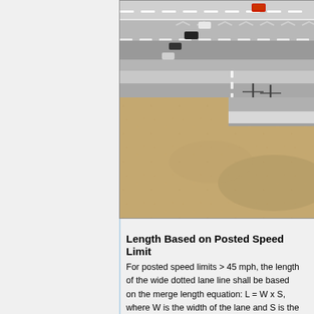[Figure (photo): Aerial photograph of a highway interchange showing multiple lanes with lane markings, chevron patterns, and several vehicles on the roadway. A large sandy/earthen area is visible in the lower portion of the image.]
Length Based on Posted Speed Limit
For posted speed limits > 45 mph, the length of the wide dotted lane line shall be based on the merge length equation: L = W x S, where W is the width of the lane and S is the posted speed limit, (mph). For posted speed limits < 45 mph, the length of the wide dotted lane